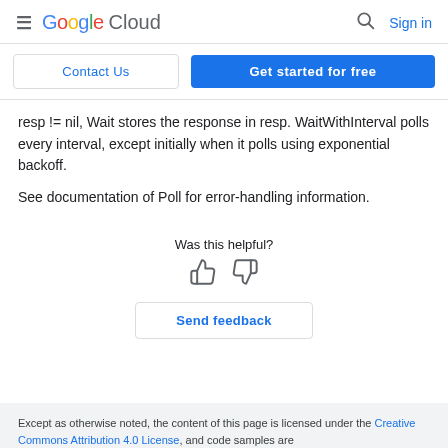≡ Google Cloud  🔍 Sign in
Contact Us | Get started for free
resp != nil, Wait stores the response in resp. WaitWithInterval polls every interval, except initially when it polls using exponential backoff.

See documentation of Poll for error-handling information.
Was this helpful?
Send feedback
Except as otherwise noted, the content of this page is licensed under the Creative Commons Attribution 4.0 License, and code samples are